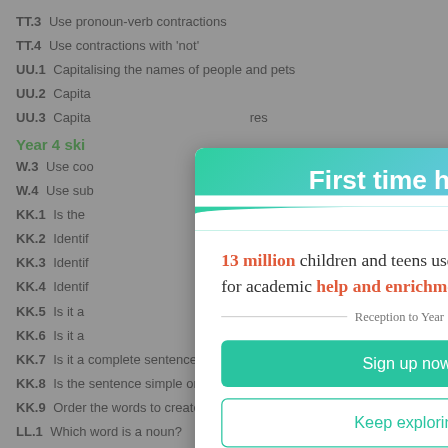TT.3 Use pronoun-verb contractions
TT.4 Use contractions with 'not'
UU.1 Capitalising the names of people and pets
UU.2 Capita...
UU.3 Capita... res
Year 4 ski
W.3 Use coo
W.4 Use sub
KK.1 Is the ... clamation?
KK.2 Identif
KK.3 Identif
KK.4 Identif
KK.5 Is it a
KK.6 Is it a
KK.7 Is it a complete sentence, a fragment or a run-on?
KK.8 Is the sentence simple or compound?
KK.9 Order the words to create a sentence
LL.1 Which word is a noun?
[Figure (screenshot): Modal popup dialog with header 'First time here?' on a teal gradient background. Body text reads '13 million children and teens use IXL for academic help and enrichment.' with a 'Reception to Year 13' divider, a 'Sign up now' teal button, and a 'Keep exploring' outlined button.]